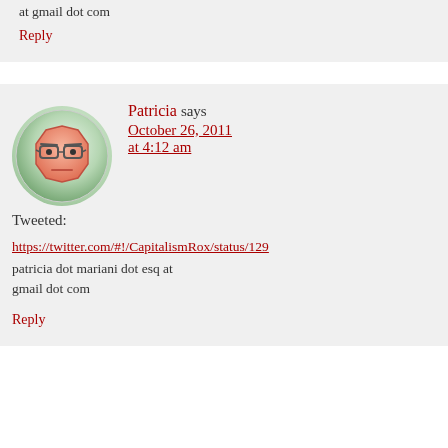at gmail dot com
Reply
Patricia says October 26, 2011 at 4:12 am
[Figure (illustration): Cartoon avatar of a bored-looking octagonal face with glasses on a green circular background]
Tweeted:
https://twitter.com/#!/CapitalismRox/status/129...
patricia dot mariani dot esq at gmail dot com
Reply